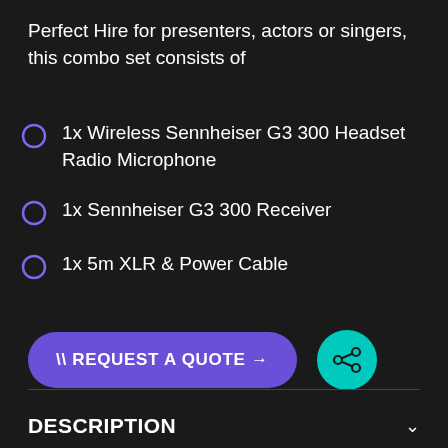Perfect Hire for presenters, actors or singers, this combo set consists of
1x Wireless Sennheiser G3 300 Headset Radio Microphone
1x Sennheiser G3 300 Receiver
1x 5m XLR & Power Cable
[Figure (other): Purple rounded button labeled \ REQUEST A QUOTE → and a teal circular share icon button]
DESCRIPTION